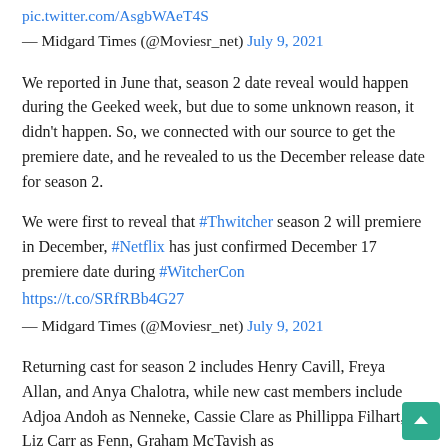pic.twitter.com/AsgbWAeT4S
— Midgard Times (@Moviesr_net) July 9, 2021
We reported in June that, season 2 date reveal would happen during the Geeked week, but due to some unknown reason, it didn't happen. So, we connected with our source to get the premiere date, and he revealed to us the December release date for season 2.
We were first to reveal that #Thwitcher season 2 will premiere in December, #Netflix has just confirmed December 17 premiere date during #WitcherCon https://t.co/SRfRBb4G27
— Midgard Times (@Moviesr_net) July 9, 2021
Returning cast for season 2 includes Henry Cavill, Freya Allan, and Anya Chalotra, while new cast members include Adjoa Andoh as Nenneke, Cassie Clare as Phillippa Filhart, Liz Carr as Fenn, Graham McTavish as